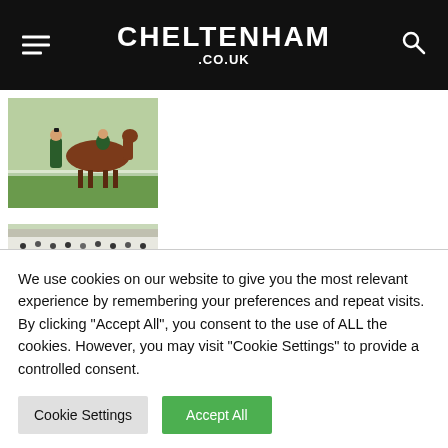CHELTENHAM .CO.UK
[Figure (photo): Horse with jockey and handler standing on grass at a racecourse]
[Figure (photo): Horses racing at Punchestown racecourse with large grandstand crowd]
Punchestown | Thursday's Mark The Card
[Figure (photo): Horses racing at Punchestown racecourse with trees and buildings in background]
Punchestown | Wednesday's Mark The Card
We use cookies on our website to give you the most relevant experience by remembering your preferences and repeat visits. By clicking “Accept All”, you consent to the use of ALL the cookies. However, you may visit “Cookie Settings” to provide a controlled consent.